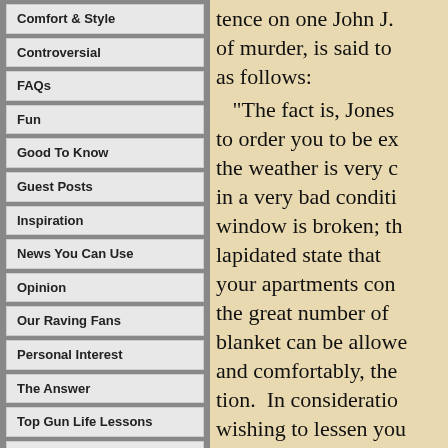Comfort & Style
Controversial
FAQs
Fun
Good To Know
Guest Posts
Inspiration
News You Can Use
Opinion
Our Raving Fans
Personal Interest
The Answer
Top Gun Life Lessons
Tucker News You Can Use
Tucker Says
tence on one John J. of murder, is said to as follows: “The fact is, Jones to order you to be ex the weather is very c in a very bad conditi window is broken; th lapidated state that your apartments con the great number of blanket can be allow and comfortably, the tion. In considerati wishing to lessen you ble, the court, in the